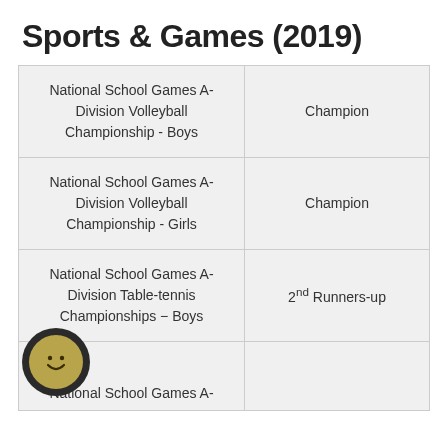Sports & Games (2019)
| National School Games A-Division Volleyball Championship - Boys | Champion |
| National School Games A-Division Volleyball Championship - Girls | Champion |
| National School Games A-Division Table-tennis Championships - Boys | 2nd Runners-up |
| National School Games A- |  |